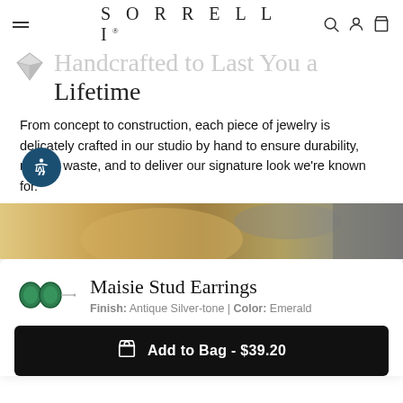SORRELLI
Handcrafted to Last You a Lifetime
From concept to construction, each piece of jewelry is delicately crafted in our studio by hand to ensure durability, reduce waste, and to deliver our signature look we're known for.
[Figure (photo): Photo of a woman with blonde hair working in a studio, cropped across the width of the page.]
Maisie Stud Earrings
Finish: Antique Silver-tone | Color: Emerald
Add to Bag - $39.20